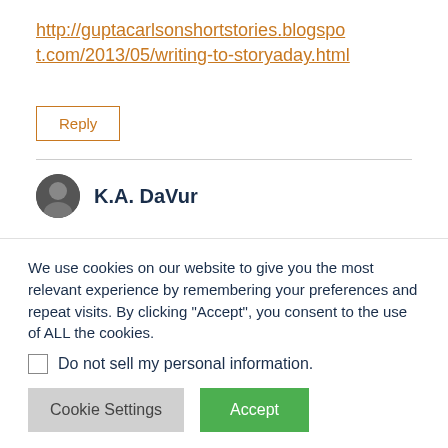http://guptacarlsonshortstories.blogspot.com/2013/05/writing-to-storyaday.html
Reply
K.A. DaVur
We use cookies on our website to give you the most relevant experience by remembering your preferences and repeat visits. By clicking "Accept", you consent to the use of ALL the cookies.
Do not sell my personal information.
Cookie Settings
Accept